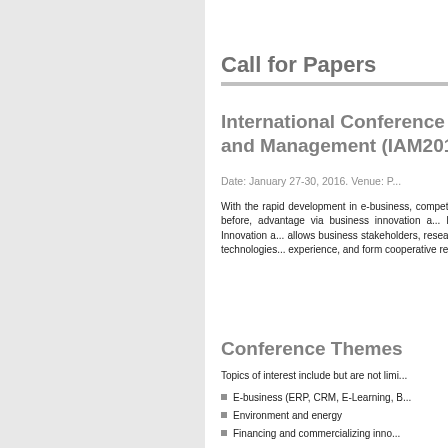Call for Papers
International Conference on Innovation and Management (IAM2016...
Date: January 27-30, 2016. Venue: P...
With the rapid development in e-business, competition that is fiercer than ever before, advantage via business innovation a... International Conference on Innovation a... allows business stakeholders, researc... knowledge of innovative technologies... experience, and form cooperative rel... management.
Conference Themes
Topics of interest include but are not limi...
E-business (ERP, CRM, E-Learning, B...
Environment and energy
Financing and commercializing inno...